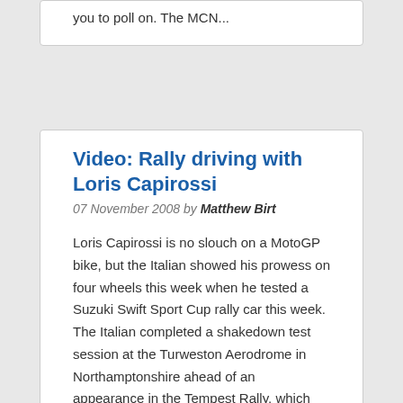you to poll on. The MCN...
Video: Rally driving with Loris Capirossi
07 November 2008 by Matthew Birt
Loris Capirossi is no slouch on a MotoGP bike, but the Italian showed his prowess on four wheels this week when he tested a Suzuki Swift Sport Cup rally car this week. The Italian completed a shakedown test session at the Turweston Aerodrome in Northamptonshire ahead of an appearance in the Tempest Rally, which will be run on an 80km course through the forests and military training grounds of...